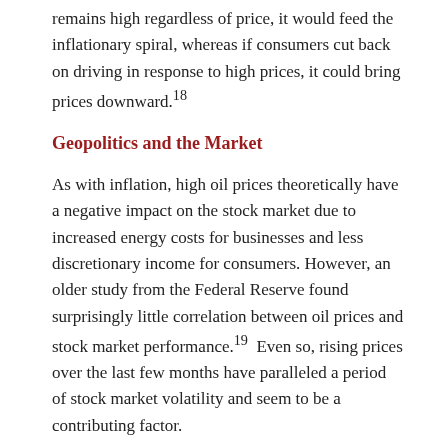remains high regardless of price, it would feed the inflationary spiral, whereas if consumers cut back on driving in response to high prices, it could bring prices downward.18
Geopolitics and the Market
As with inflation, high oil prices theoretically have a negative impact on the stock market due to increased energy costs for businesses and less discretionary income for consumers. However, an older study from the Federal Reserve found surprisingly little correlation between oil prices and stock market performance.19  Even so, rising prices over the last few months have paralleled a period of stock market volatility and seem to be a contributing factor.
The market ups and downs triggered by the Russian invasion suggest that investors can expect rocky times ahead, but it's impossible to guess how long volatility might last. Most geopolitical events, no